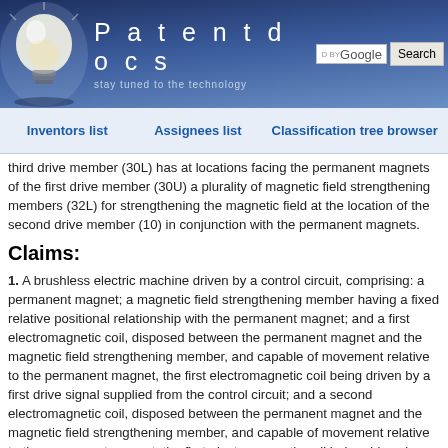Patentdocs — stay tuned to the technology
Inventors list | Assignees list | Classification tree browser
third drive member (30L) has at locations facing the permanent magnets of the first drive member (30U) a plurality of magnetic field strengthening members (32L) for strengthening the magnetic field at the location of the second drive member (10) in conjunction with the permanent magnets.
Claims:
1. A brushless electric machine driven by a control circuit, comprising: a permanent magnet; a magnetic field strengthening member having a fixed relative positional relationship with the permanent magnet; and a first electromagnetic coil, disposed between the permanent magnet and the magnetic field strengthening member, and capable of movement relative to the permanent magnet, the first electromagnetic coil being driven by a first drive signal supplied from the control circuit; and a second electromagnetic coil, disposed between the permanent magnet and the magnetic field strengthening member, and capable of movement